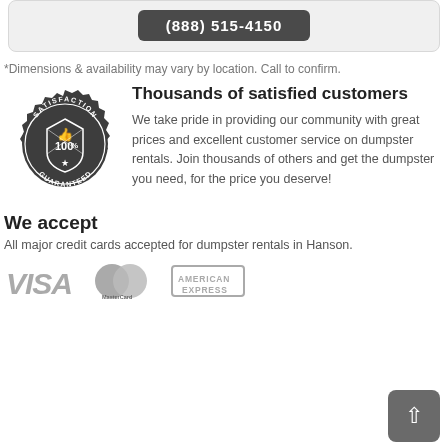(888) 515-4150
*Dimensions & availability may vary by location. Call to confirm.
[Figure (illustration): Circular satisfaction guarantee badge reading 'SATISFACTION 100% GUARANTEED' in dark gray/black with badge/seal design]
Thousands of satisfied customers
We take pride in providing our community with great prices and excellent customer service on dumpster rentals. Join thousands of others and get the dumpster you need, for the price you deserve!
We accept
All major credit cards accepted for dumpster rentals in Hanson.
[Figure (logo): VISA logo in gray]
[Figure (logo): MasterCard logo in gray with two overlapping circles]
[Figure (logo): American Express logo in gray]